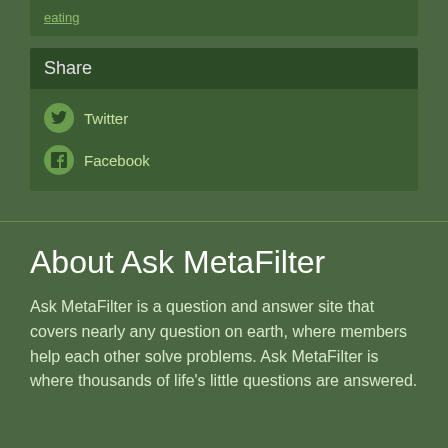eating
Share
Twitter
Facebook
About Ask MetaFilter
Ask MetaFilter is a question and answer site that covers nearly any question on earth, where members help each other solve problems. Ask MetaFilter is where thousands of life's little questions are answered.